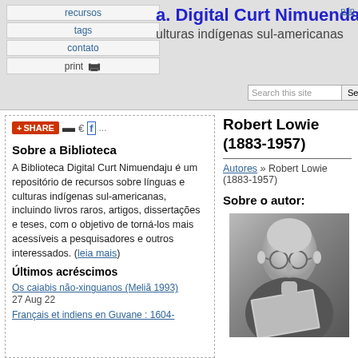Biblioteca Digital Curt Nimuendajú — línguas e culturas indígenas sul-americanas
recursos | tags | contato | print | Search this site [Search]
[Figure (other): Share bar with social icons (SHARE button, delicious, Google, Facebook)]
Sobre a Biblioteca
A Biblioteca Digital Curt Nimuendaju é um repositório de recursos sobre línguas e culturas indígenas sul-americanas, incluindo livros raros, artigos, dissertações e teses, com o objetivo de torná-los mais acessíveis a pesquisadores e outros interessados. (leia mais)
Últimos acréscimos
Os caiabis não-xinguanos (Meliã 1993)
27 Aug 22
Français et indiens en Guvane : 1604-
Robert Lowie (1883-1957)
Autores » Robert Lowie (1883-1957)
Sobre o autor:
[Figure (photo): Black and white photograph of Robert Lowie, an older balding man with glasses, looking down at a book]